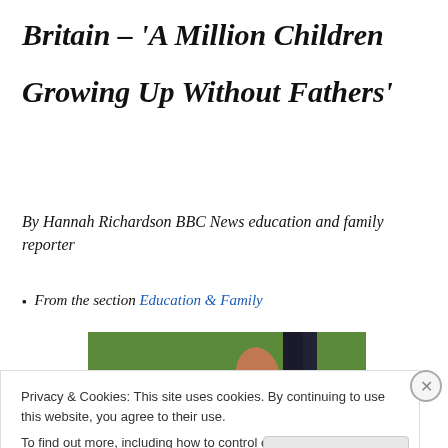Britain – ‘A Million Children Growing Up Without Fathers’
By Hannah Richardson BBC News education and family reporter
From the section Education & Family
[Figure (photo): Photo showing a child and an adult outdoors on grass, holding hands]
Privacy & Cookies: This site uses cookies. By continuing to use this website, you agree to their use.
To find out more, including how to control cookies, see here: Cookie Policy